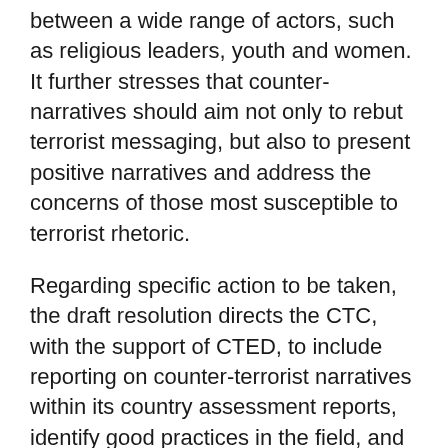between a wide range of actors, such as religious leaders, youth and women. It further stresses that counter-narratives should aim not only to rebut terrorist messaging, but also to present positive narratives and address the concerns of those most susceptible to terrorist rhetoric.
Regarding specific action to be taken, the draft resolution directs the CTC, with the support of CTED, to include reporting on counter-terrorist narratives within its country assessment reports, identify good practices in the field, and assist states in building their own capacity to develop counter-narratives. Initially, Egypt wanted to establish a new body to monitor implementation, which would include the involvement of non-Council members, but several Council members did not see the merit in adding to the current framework of UN bodies working on counter-terrorism issues and foresaw structural difficulties in establishing such a body. Instead, the draft resolution requests the CTC to